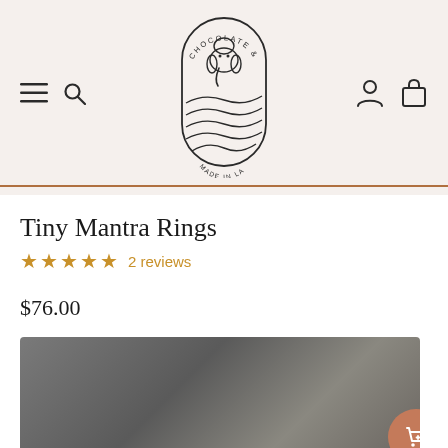[Figure (logo): Chocolate & Steel brand logo: oval/arch shape with elephant and floral motif, text 'CHOCOLATE & STEEL' arched at top, 'MADE IN LA' at bottom]
Tiny Mantra Rings
★★★★★ 2 reviews
$76.00
[Figure (photo): Blurred close-up product photo showing rings on a textured background in grey/brown tones]